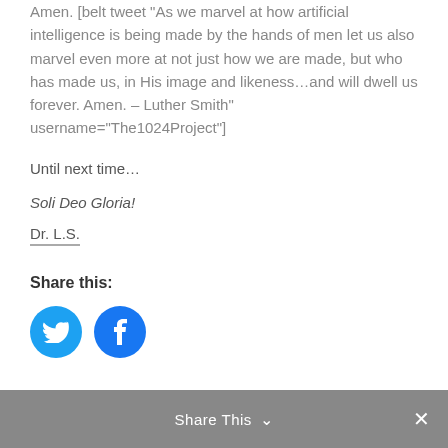Amen. [belt tweet "As we marvel at how artificial intelligence is being made by the hands of men let us also marvel even more at not just how we are made, but who has made us, in His image and likeness…and will dwell us forever. Amen. – Luther Smith" username="The1024Project"]
Until next time…
Soli Deo Gloria!
Dr. L.S.
Share this:
[Figure (infographic): Twitter and Facebook circular share buttons — blue circles with white bird and f icons respectively]
Share This ∨  ✕